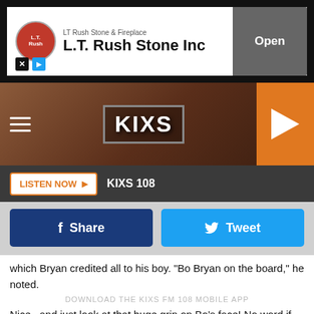[Figure (screenshot): Advertisement banner for LT Rush Stone & Fireplace / L.T. Rush Stone Inc with Open button]
[Figure (screenshot): KIXS 108 radio station navigation bar with hamburger menu, logo, and orange play button]
LISTEN NOW ▶   KIXS 108
[Figure (screenshot): Facebook Share and Twitter Tweet social sharing buttons]
which Bryan credited all to his boy. "Bo Bryan on the board," he noted.
DOWNLOAD THE KIXS FM 108 MOBILE APP
Nice...and just look at that huge grin on Bo's face! No word if he got out of school for this (his school is understanding, within reason, due to Dad's crazy schedule) but he certainly looks happy regardless.